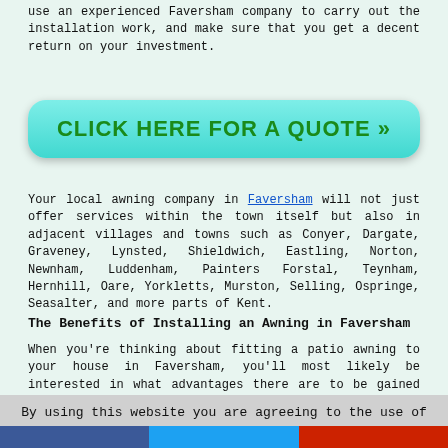use an experienced Faversham company to carry out the installation work, and make sure that you get a decent return on your investment.
[Figure (other): Cyan/teal rounded button with text CLICK HERE FOR A QUOTE >>]
Your local awning company in Faversham will not just offer services within the town itself but also in adjacent villages and towns such as Conyer, Dargate, Graveney, Lynsted, Shieldwich, Eastling, Norton, Newnham, Luddenham, Painters Forstal, Teynham, Hernhill, Oare, Yorkletts, Murston, Selling, Ospringe, Seasalter, and more parts of Kent.
The Benefits of Installing an Awning in Faversham
When you're thinking about fitting a patio awning to your house in Faversham, you'll most likely be interested in what advantages there are to be gained by this procedure. There are in reality a wide range of benefits to fitting an awning and they include things like: minimizing the sun's glare inside your house, shelter from rain, protecting your
By using this website you are agreeing to the use of third-party cookies Learn More  OK